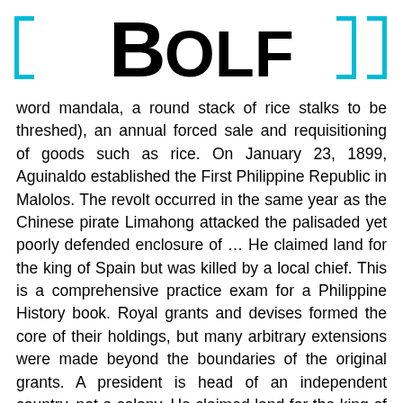BOLF
word mandala, a round stack of rice stalks to be threshed), an annual forced sale and requisitioning of goods such as rice. On January 23, 1899, Aguinaldo established the First Philippine Republic in Malolos. The revolt occurred in the same year as the Chinese pirate Limahong attacked the palisaded yet poorly defended enclosure of … He claimed land for the king of Spain but was killed by a local chief. This is a comprehensive practice exam for a Philippine History book. Royal grants and devises formed the core of their holdings, but many arbitrary extensions were made beyond the boundaries of the original grants. A president is head of an independent country, not a colony. He claimed land for the king of Spain but was killed by a local chief. He was arrested just a few days after founding the league. By 1896 the Katipunan had a membership by the thousands. The supposed Philippine education was only a means to remain in the Philippines as colonizers. But as the Christian laity grew in number and the